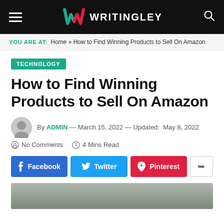WRITINGLEY
YOU ARE AT: Home » How to Find Winning Products to Sell On Amazon
TECHNOLOGY
How to Find Winning Products to Sell On Amazon
By ADMIN — March 15, 2022 — Updated: May 8, 2022
No Comments   4 Mins Read
Facebook  Twitter  Pinterest
[Figure (photo): Partial view of a person using a device, article header image]